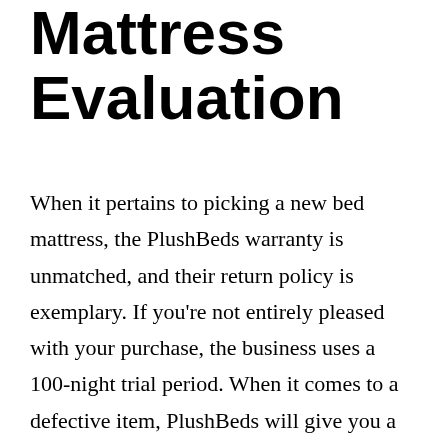Mattress Evaluation
When it pertains to picking a new bed mattress, the PlushBeds warranty is unmatched, and their return policy is exemplary. If you're not entirely pleased with your purchase, the business uses a 100-night trial period. When it comes to a defective item, PlushBeds will give you a complete refund. Those are pretty good policies, and they must be a top factor to consider before you buy.